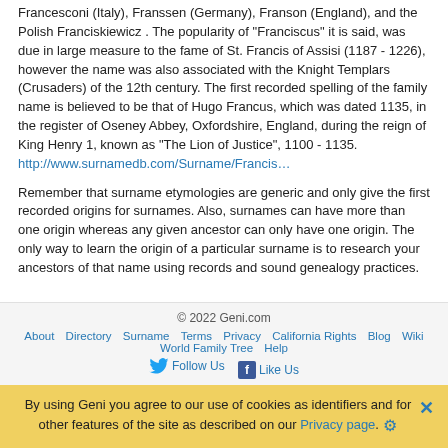Francesconi (Italy), Franssen (Germany), Franson (England), and the Polish Franciskiewicz . The popularity of "Franciscus" it is said, was due in large measure to the fame of St. Francis of Assisi (1187 - 1226), however the name was also associated with the Knight Templars (Crusaders) of the 12th century. The first recorded spelling of the family name is believed to be that of Hugo Francus, which was dated 1135, in the register of Oseney Abbey, Oxfordshire, England, during the reign of King Henry 1, known as "The Lion of Justice", 1100 - 1135. http://www.surnamedb.com/Surname/Francis...
Remember that surname etymologies are generic and only give the first recorded origins for surnames. Also, surnames can have more than one origin whereas any given ancestor can only have one origin. The only way to learn the origin of a particular surname is to research your ancestors of that name using records and sound genealogy practices.
© 2022 Geni.com | About | Directory | Surname | Terms | Privacy | California Rights | Blog | Wiki | World Family Tree | Help | Follow Us | Like Us